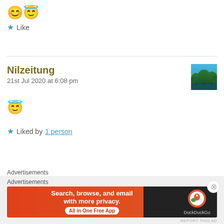😊😇
★ Like
Nilzeitung
21st Jul 2020 at 6:08 pm
[Figure (photo): Avatar image of a river with trees, green/blue nature scene]
😇
★ Liked by 1 person
Advertisements
[Figure (screenshot): WordPress advertisement banner with blue/teal gradient, WordPress logo on left and a phone on the right]
Advertisements
[Figure (screenshot): DuckDuckGo advertisement: orange section with text 'Search, browse, and email with more privacy. All in One Free App' and DuckDuckGo logo on dark background]